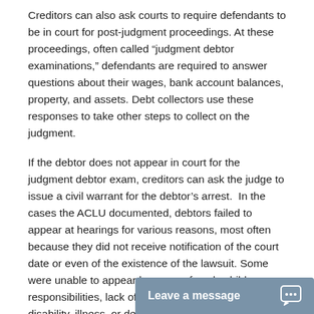Creditors can also ask courts to require defendants to be in court for post-judgment proceedings. At these proceedings, often called “judgment debtor examinations,” defendants are required to answer questions about their wages, bank account balances, property, and assets. Debt collectors use these responses to take other steps to collect on the judgment.
If the debtor does not appear in court for the judgment debtor exam, creditors can ask the judge to issue a civil warrant for the debtor’s arrest.  In the cases the ACLU documented, debtors failed to appear at hearings for various reasons, most often because they did not receive notification of the court date or even of the existence of the lawsuit. Some were unable to appear because of work, child care responsibilities, lack of transportation, physical disability, illness, or dementia.  We found two cases in which debtors missed hearings because they were terminally ill and died shortly after warrants were issued for their arrest.
READ THE FULL REPORT